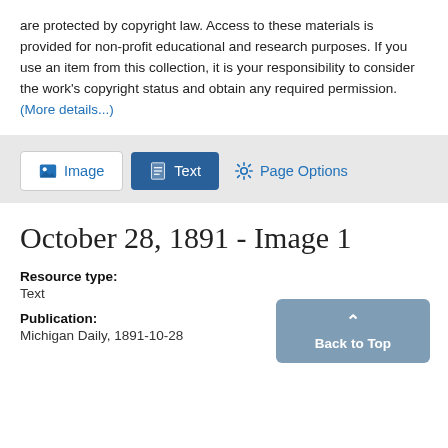are protected by copyright law. Access to these materials is provided for non-profit educational and research purposes. If you use an item from this collection, it is your responsibility to consider the work's copyright status and obtain any required permission. (More details...)
[Figure (screenshot): Navigation tab bar with Image, Text (active/highlighted in blue), and Page Options buttons on a light gray background]
October 28, 1891 - Image 1
Resource type: Text
Publication: Michigan Daily, 1891-10-28